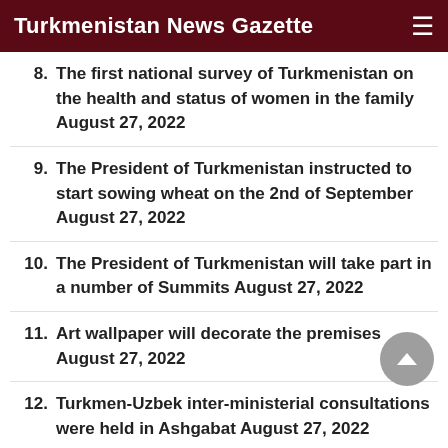Turkmenistan News Gazette
The first national survey of Turkmenistan on the health and status of women in the family August 27, 2022
The President of Turkmenistan instructed to start sowing wheat on the 2nd of September August 27, 2022
The President of Turkmenistan will take part in a number of Summits August 27, 2022
Art wallpaper will decorate the premises August 27, 2022
Turkmen-Uzbek inter-ministerial consultations were held in Ashgabat August 27, 2022